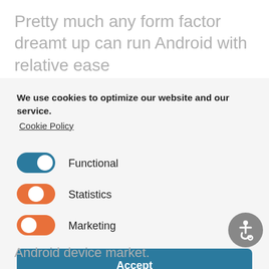Pretty much any form factor dreamt up can run Android with relative ease
We use cookies to optimize our website and our service.
Cookie Policy
Functional
Statistics
Marketing
Accept
Save preferences
Android device market.